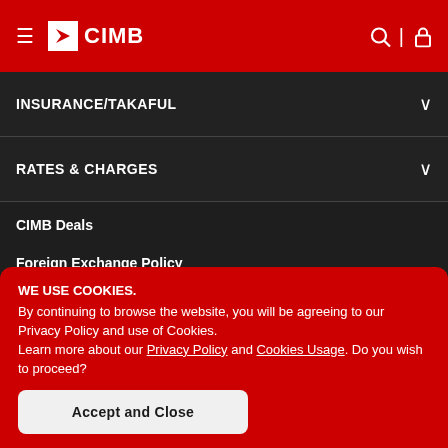CIMB
INSURANCE/TAKAFUL
RATES & CHARGES
CIMB Deals
Foreign Exchange Policy
Foreign Exchange Notices FAQs
Contact Us
Locate Us
WE USE COOKIES. By continuing to browse the website, you will be agreeing to our Privacy Policy and use of Cookies. Learn more about our Privacy Policy and Cookies Usage. Do you wish to proceed?
Accept and Close